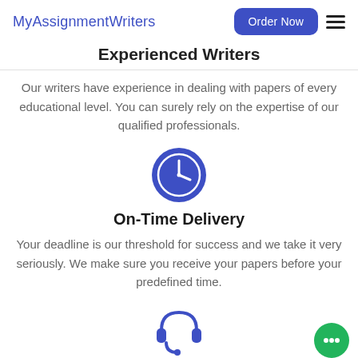MyAssignmentWriters | Order Now
Experienced Writers
Our writers have experience in dealing with papers of every educational level. You can surely rely on the expertise of our qualified professionals.
[Figure (illustration): Blue circle icon with a clock/time symbol inside]
On-Time Delivery
Your deadline is our threshold for success and we take it very seriously. We make sure you receive your papers before your predefined time.
[Figure (illustration): Blue headset/support icon at the bottom of the page, and a green chat bubble button in the bottom right corner]